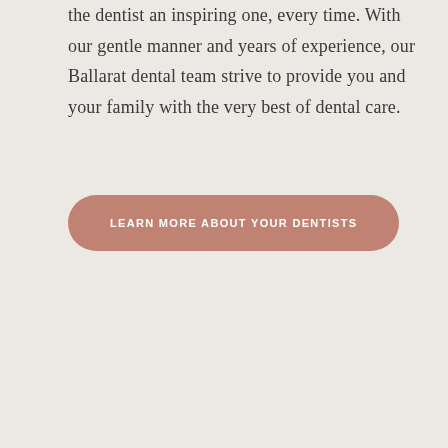the dentist an inspiring one, every time. With our gentle manner and years of experience, our Ballarat dental team strive to provide you and your family with the very best of dental care.
LEARN MORE ABOUT YOUR DENTISTS